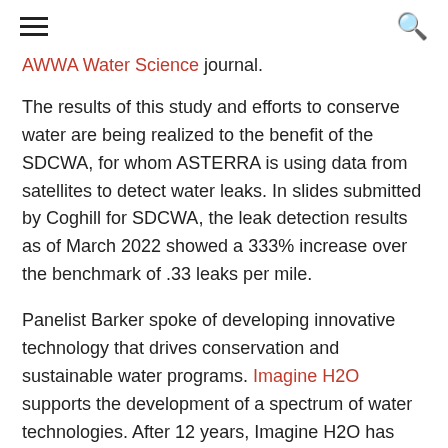[hamburger menu icon] [search icon]
AWWA Water Science journal.
The results of this study and efforts to conserve water are being realized to the benefit of the SDCWA, for whom ASTERRA is using data from satellites to detect water leaks. In slides submitted by Coghill for SDCWA, the leak detection results as of March 2022 showed a 333% increase over the benchmark of .33 leaks per mile.
Panelist Barker spoke of developing innovative technology that drives conservation and sustainable water programs. Imagine H2O supports the development of a spectrum of water technologies. After 12 years, Imagine H2O has supported 166 entrepreneurs and has raised over 800 million dollars of equity capital. An accelerator for ASTERRA, Imagine H2O supported their early growth. In 2017,